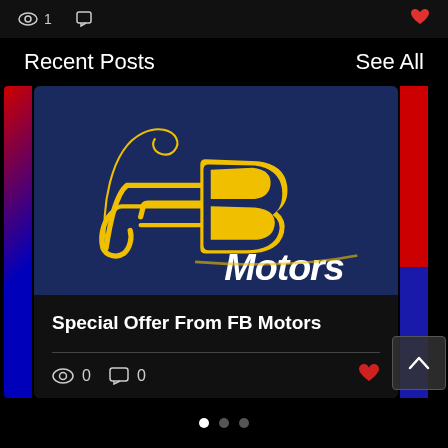1
Recent Posts
See All
[Figure (logo): FB Motors logo — yellow stylized cursive 'fB' lettering with 'Motors' in white on a dark navy blue background]
Special Offer From FB Motors
0  0